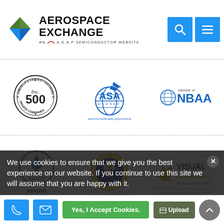[Figure (logo): Aerospace Exchange logo - diamond shape with AEROSPACE EXCHANGE text and AN A.S.A.P SEMICONDUCTOR WEBSITE subtitle, with search and menu icons]
[Figure (logo): Inc. 500 America's Fastest-Growing Private Companies badge]
[Figure (logo): ASA Member - Aviation Suppliers Association logo with globe and aircraft]
[Figure (logo): Member of NBAA logo]
[Figure (logo): ASACB AS9120B ISO 9001:2015 certification logo]
[Figure (logo): Cage Code 6RE77 - US government eagle seal]
[Figure (logo): Visual Compliance An eCustoms Solution logo]
[Figure (logo): Dun & Bradstreet Registered logo]
[Figure (logo): FAA AC 0056B Certified logo]
[Figure (logo): Proud Member - Check Our Report with Rating badge]
We use cookies to ensure that we give you the best experience on our website. If you continue to use this site we will assume that you are happy with it.